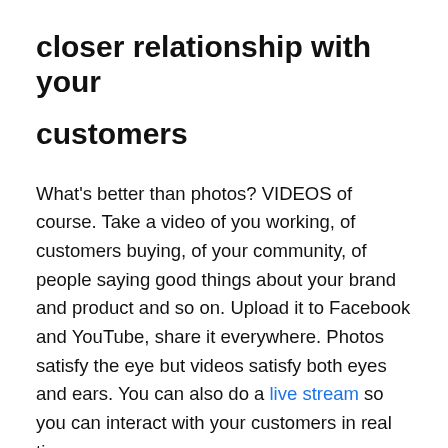closer relationship with your customers
What's better than photos? VIDEOS of course. Take a video of you working, of customers buying, of your community, of people saying good things about your brand and product and so on. Upload it to Facebook and YouTube, share it everywhere. Photos satisfy the eye but videos satisfy both eyes and ears. You can also do a live stream so you can interact with your customers in real time.
4. Run simple contests